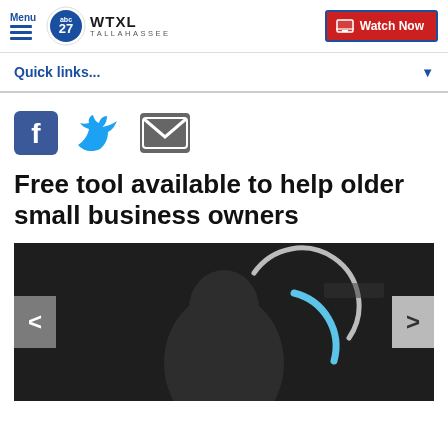Menu | WTXL TALLAHASSEE | Watch Now
Quick links...
[Figure (other): Social share icons: Facebook, Twitter, Email]
Free tool available to help older small business owners
[Figure (photo): Dark photo of a person with a circular blue/white loading arc graphic overlay, with left and right navigation arrows on either side]